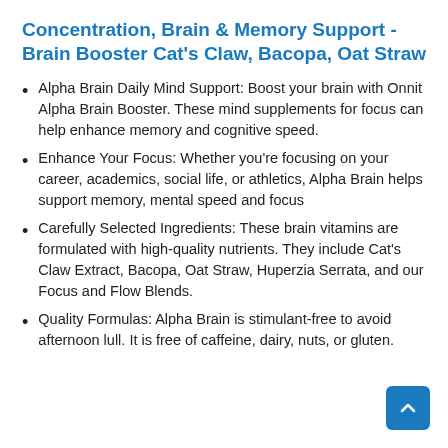Concentration, Brain & Memory Support - Brain Booster Cat's Claw, Bacopa, Oat Straw
Alpha Brain Daily Mind Support: Boost your brain with Onnit Alpha Brain Booster. These mind supplements for focus can help enhance memory and cognitive speed.
Enhance Your Focus: Whether you’re focusing on your career, academics, social life, or athletics, Alpha Brain helps support memory, mental speed and focus
Carefully Selected Ingredients: These brain vitamins are formulated with high-quality nutrients. They include Cat's Claw Extract, Bacopa, Oat Straw, Huperzia Serrata, and our Focus and Flow Blends.
Quality Formulas: Alpha Brain is stimulant-free to avoid afternoon lull. It is free of caffeine, dairy, nuts, or gluten.